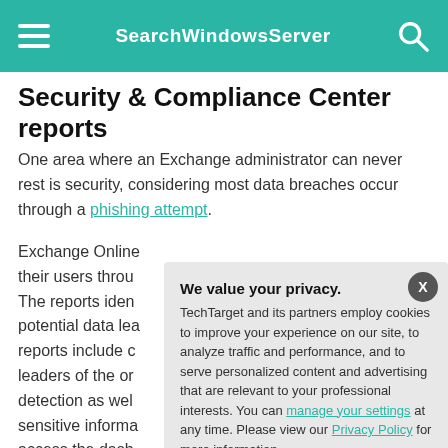SearchWindowsServer
Security & Compliance Center reports
One area where an Exchange administrator can never rest is security, considering most data breaches occur through a phishing attempt.
Exchange Online... their users through... The reports identify... potential data lea... reports include c... leaders of the or... detection as well... sensitive informa... access the dash... Dashboard secti... Center.
[Figure (screenshot): Privacy consent modal overlay with title 'We value your privacy.' and buttons 'OK' and 'Settings']